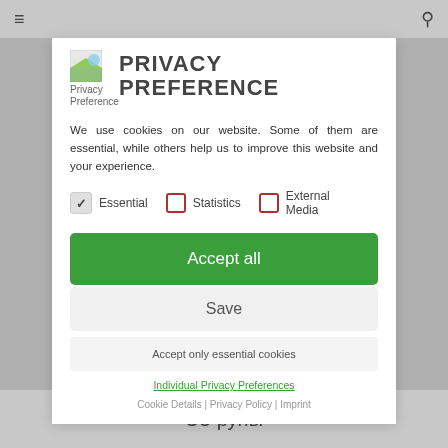≡   🔍
PRIVACY PREFERENCE
We use cookies on our website. Some of them are essential, while others help us to improve this website and your experience.
Essential (checked), Statistics (unchecked), External Media (unchecked)
Accept all
Save
Accept only essential cookies
Individual Privacy Preferences
Cookie Details | Privacy Policy | Imprint
ЭЗ руны